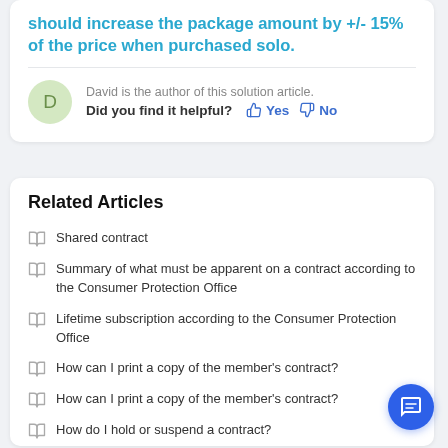should increase the package amount by +/- 15% of the price when purchased solo.
David is the author of this solution article.
Did you find it helpful? Yes No
Related Articles
Shared contract
Summary of what must be apparent on a contract according to the Consumer Protection Office
Lifetime subscription according to the Consumer Protection Office
How can I print a copy of the member's contract?
How can I print a copy of the member's contract?
How do I hold or suspend a contract?